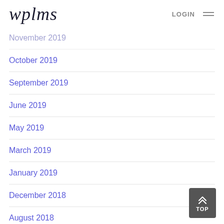wplms LOGIN
November 2019
October 2019
September 2019
June 2019
May 2019
March 2019
January 2019
December 2018
August 2018
January 2018